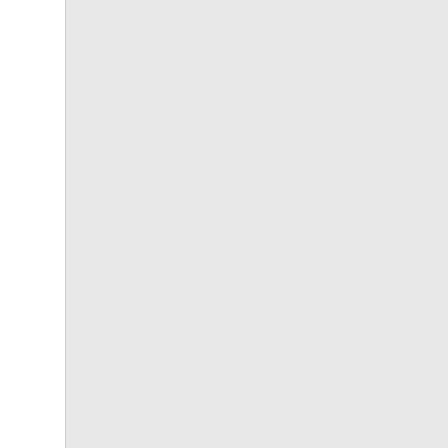Procurator-Fiscals foe the Commissary, and Admiralty, Wilson Street. — W. Hart a Procurator-Fiscal for the Justices of the Peace. — R. D. Douglas, Brunswick Street. Property and Income Tax Office OF Glasgow, 13 Queen Street. Property AND Income Tax Office, Ward of LanapvKshirb, 13 Queen Street, clerk' J. Jlitchell and W. Smith Street, and T. C. Ross, assessor. Recruiting District Offices, Shamrock Street. Registration of Voters' Office, City of Glasgow, 24 Ingram Street. Campbell, assessor. Religious Institution Rooms, Buchanan Street. — John M'Callum, manager. Sanitary Chambers, 1 Montreal Street. J. B. Russell, medical officer; Macleod, sanitary inspector; inspector; J. Dobson, A. Watson, Laurie, T. B. Stewart, district inspectors. Sasine Office for the Burgii of Glasgow — Andrew Cunningham, registrar. Session-Clerk's Office for the Parish, Terrace — Thomas Smith, Session-Clerk's Office foe the Parish, also foe the Quoad